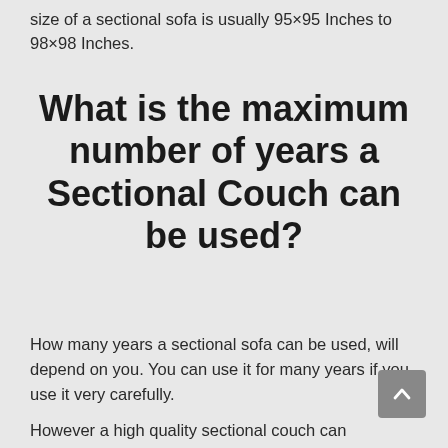size of a sectional sofa is usually 95×95 Inches to 98×98 Inches.
What is the maximum number of years a Sectional Couch can be used?
How many years a sectional sofa can be used, will depend on you. You can use it for many years if you use it very carefully.
However a high quality sectional couch can